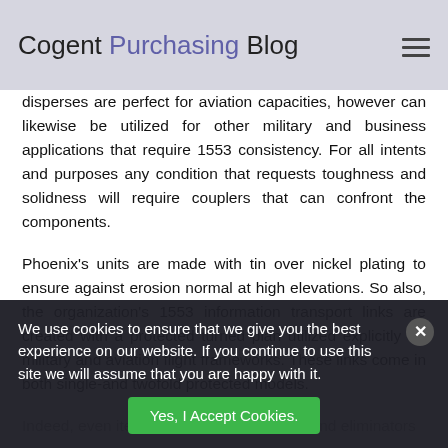Cogent Purchasing Blog
disperses are perfect for aviation capacities, however can likewise be utilized for other military and business applications that require 1553 consistency. For all intents and purposes any condition that requests toughness and solidness will require couplers that can confront the components.
Phoenix's units are made with tin over nickel plating to ensure against erosion normal at high elevations. So also, the organization's 1553 information transport links are created with a protected turned plan utilized explicitly for military and aviation flight frameworks. These links come in both single-and twofold protected models.
Indeed, even items as little as connectors and eliminators
We use cookies to ensure that we give you the best experience on our website. If you continue to use this site we will assume that you are happy with it.